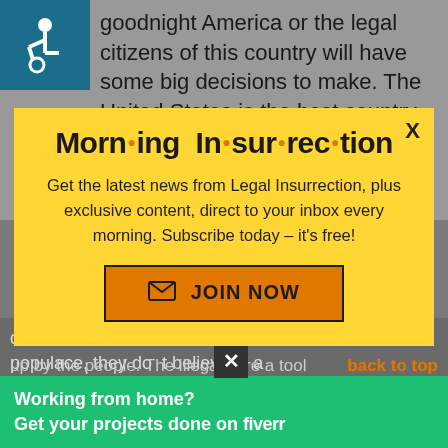goodnight America or the legal citizens of this country will have some big decisions to make. The United States is the best country that has ever existed
[Figure (logo): Wheelchair accessibility icon on teal/dark cyan background]
Morning Insurrection
Get the latest news from Legal Insurrection, plus exclusive content, direct to your inbox every morning. Subscribe today – it's free!
[Figure (infographic): JOIN NOW button with envelope icon, orange background with dark border]
democrats want to rule over the populace, they do not believe in a
Working from home?
Get your projects done on fiverr
Back to top